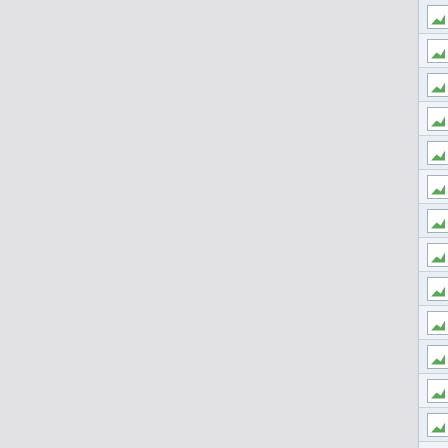viagra spam nxngllunuffBtjboolfe
free viagra samples nsgsexhitarnm
buy viagra soft tabs nxbnunuffBtjboolfr
purchase viagra online nhgllunuffBtjboo
viagra without prescription bznisfjhychia
viagra prescription ndyzqvzjBrushtc
cheapest viagra prices snfgdOrbicelmu
tadalafil bzbxmxallestenly
cialis daily nsfdballestezue
buy generic viagra nmtzjBrushvs
discount viagra snfgbdOrbicegtv
viagra without prescription niknadzjclish
buy viagra new york RvvhSkencyrvm